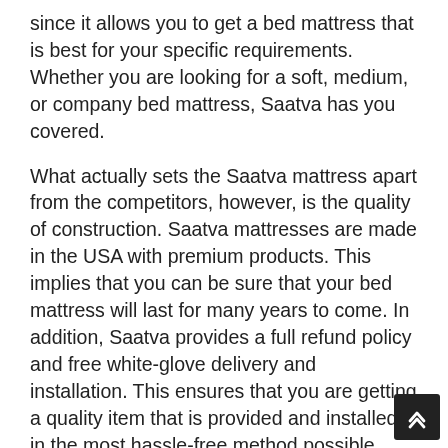since it allows you to get a bed mattress that is best for your specific requirements. Whether you are looking for a soft, medium, or company bed mattress, Saatva has you covered.
What actually sets the Saatva mattress apart from the competitors, however, is the quality of construction. Saatva mattresses are made in the USA with premium products. This implies that you can be sure that your bed mattress will last for many years to come. In addition, Saatva provides a full refund policy and free white-glove delivery and installation. This ensures that you are getting a quality item that is provided and installed in the most hassle-free method possible.
A Saatva mattress is a premium, high-end mattress that is developed to last. Unlike many other bed mattress on the marketplace today, a Saatva bed